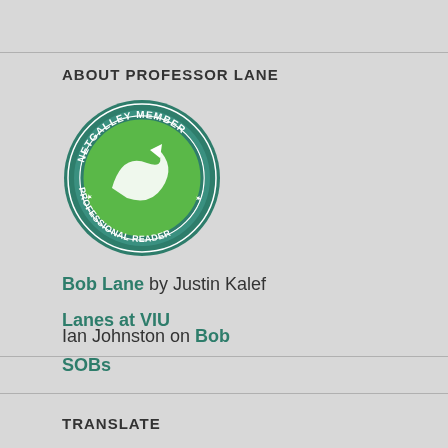ABOUT PROFESSOR LANE
[Figure (logo): NetGalley Member Professional Reader circular badge with green swoosh logo on teal/green background]
Bob Lane by Justin Kalef
Ian Johnston on Bob
Lanes at VIU
SOBs
TRANSLATE